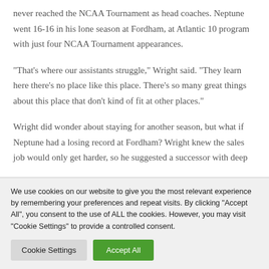never reached the NCAA Tournament as head coaches. Neptune went 16-16 in his lone season at Fordham, at Atlantic 10 program with just four NCAA Tournament appearances.
“That's where our assistants struggle,” Wright said. “They learn here there’s no place like this place. There’s so many great things about this place that don’t kind of fit at other places.”
Wright did wonder about staying for another season, but what if Neptune had a losing record at Fordham? Wright knew the sales job would only get harder, so he suggested a successor with deep
We use cookies on our website to give you the most relevant experience by remembering your preferences and repeat visits. By clicking “Accept All”, you consent to the use of ALL the cookies. However, you may visit "Cookie Settings" to provide a controlled consent.